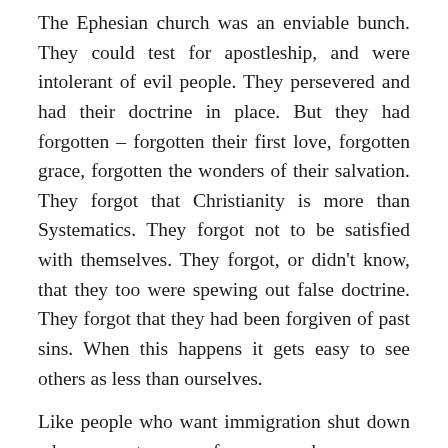The Ephesian church was an enviable bunch. They could test for apostleship, and were intolerant of evil people. They persevered and had their doctrine in place. But they had forgotten – forgotten their first love, forgotten grace, forgotten the wonders of their salvation. They forgot that Christianity is more than Systematics. They forgot not to be satisfied with themselves. They forgot, or didn't know, that they too were spewing out false doctrine. They forgot that they had been forgiven of past sins. When this happens it gets easy to see others as less than ourselves.
Like people who want immigration shut down whose ancestors were from every shore, every